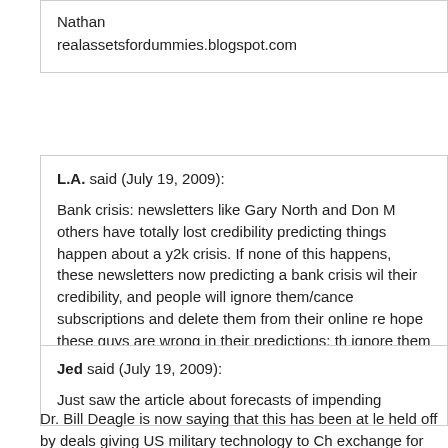Nathan
realassetsfordummies.blogspot.com
L.A. said (July 19, 2009):
Bank crisis: newsletters like Gary North and Don M others have totally lost credibility predicting things happen about a y2k crisis. If none of this happens, these newsletters now predicting a bank crisis wil their credibility, and people will ignore them/cance subscriptions and delete them from their online re hope these guys are wrong in their predictions; th ignore them later.
--
Jed said (July 19, 2009):
Just saw the article about forecasts of impending
Dr. Bill Deagle is now saying that this has been at le held off by deals giving US military technology to Ch exchange for them continuing to support the dollar a